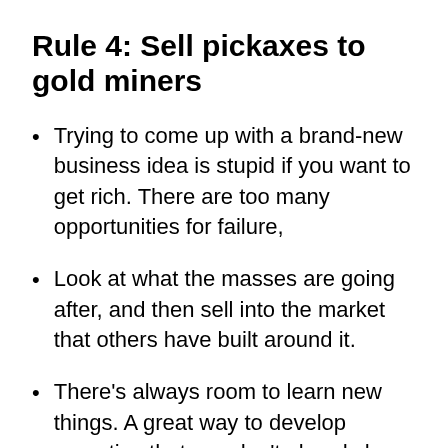Rule 4: Sell pickaxes to gold miners
Trying to come up with a brand-new business idea is stupid if you want to get rich. There are too many opportunities for failure,
Look at what the masses are going after, and then sell into the market that others have built around it.
There’s always room to learn new things. A great way to develop expertise that you don’t already have exposure to is by